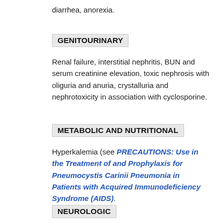diarrhea, anorexia.
GENITOURINARY
Renal failure, interstitial nephritis, BUN and serum creatinine elevation, toxic nephrosis with oliguria and anuria, crystalluria and nephrotoxicity in association with cyclosporine.
METABOLIC AND NUTRITIONAL
Hyperkalemia (see PRECAUTIONS: Use in the Treatment of and Prophylaxis for Pneumocystis Carinii Pneumonia in Patients with Acquired Immunodeficiency Syndrome (AIDS).
NEUROLOGIC